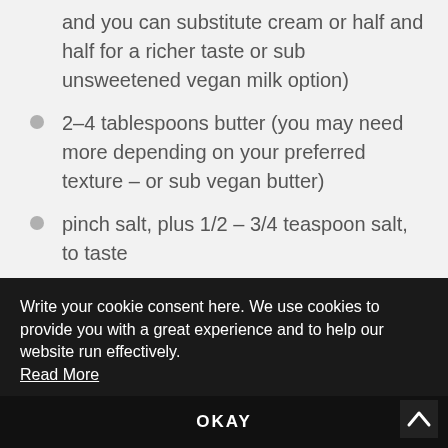and you can substitute cream or half and half for a richer taste or sub unsweetened vegan milk option)
2–4 tablespoons butter (you may need more depending on your preferred texture – or sub vegan butter)
pinch salt, plus 1/2 – 3/4 teaspoon salt, to taste
fresh-cracked pepper, to taste
fresh herbs, rinsed chopped, optional
Write your cookie consent here. We use cookies to provide you with a great experience and to help our website run effectively. Read More
OKAY
ull of water to a boil. Add pinch of salt and